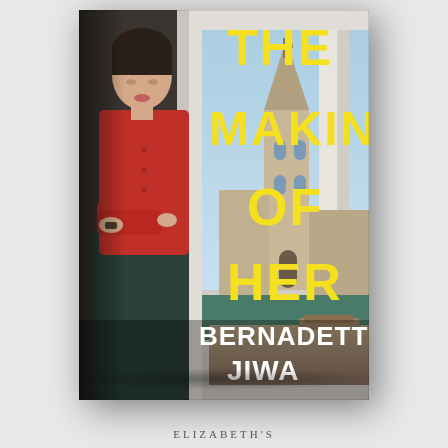[Figure (illustration): Book cover of 'The Making of Her' by Bernadette Jiwa. Shows a woman in a red cardigan with arms crossed standing by a window, with a church spire visible outside. Title text in bold yellow letters, author name in white. Book is shown as a 3D angled cover.]
ELIZABETH'S